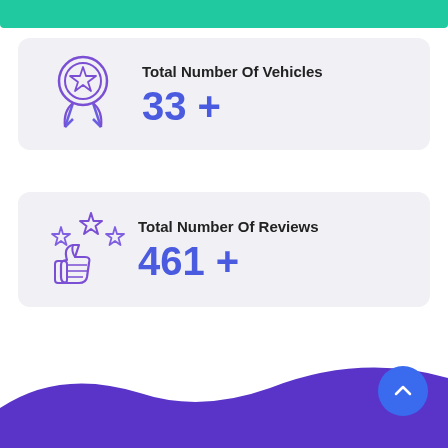[Figure (infographic): Teal/green banner strip at the top of the page representing a header image]
[Figure (infographic): Card showing Total Number Of Vehicles stat with award medal icon, value 33+]
Total Number Of Vehicles
33 +
[Figure (infographic): Card showing Total Number Of Reviews stat with thumbs up and stars icon, value 461+]
Total Number Of Reviews
461 +
[Figure (illustration): Purple/violet wave decoration at bottom of page]
[Figure (illustration): Blue circular scroll-to-top button with chevron up arrow, bottom right]